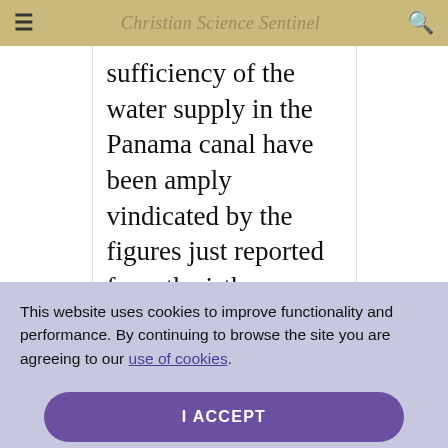Christian Science Sentinel
sufficiency of the water supply in the Panama canal have been amply vindicated by the figures just reported from the isthmus.
This website uses cookies to improve functionality and performance. By continuing to browse the site you are agreeing to our use of cookies.
I ACCEPT